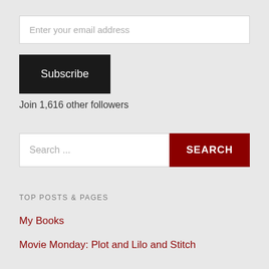Enter your email address
Subscribe
Join 1,616 other followers
Search ...
SEARCH
TOP POSTS & PAGES
My Books
Movie Monday: Plot and Lilo and Stitch